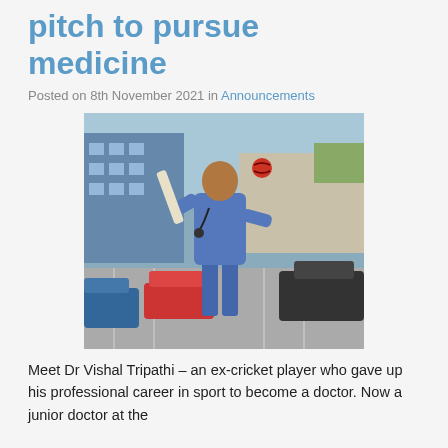pitch to pursue medicine
Posted on 8th November 2021 in Announcements
[Figure (photo): A man in blue medical scrubs holding a cricket bat over his shoulder and tossing a red cricket ball, standing in a hospital car park with a building and parked cars in the background.]
Meet Dr Vishal Tripathi – an ex-cricket player who gave up his professional career in sport to become a doctor. Now a junior doctor at the